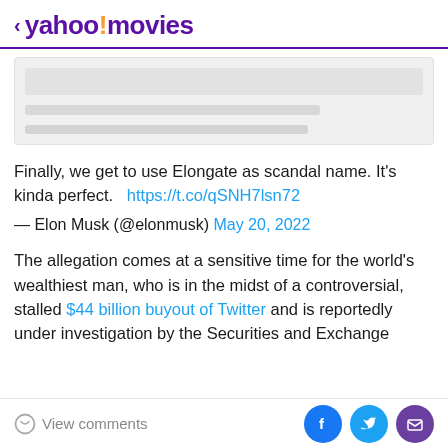< yahoo!movies
[Figure (screenshot): Placeholder/loading card with grey bars representing image and text content]
Finally, we get to use Elongate as scandal name. It's kinda perfect.   https://t.co/qSNH7lsn72
— Elon Musk (@elonmusk) May 20, 2022
The allegation comes at a sensitive time for the world's wealthiest man, who is in the midst of a controversial, stalled $44 billion buyout of Twitter and is reportedly under investigation by the Securities and Exchange
View comments